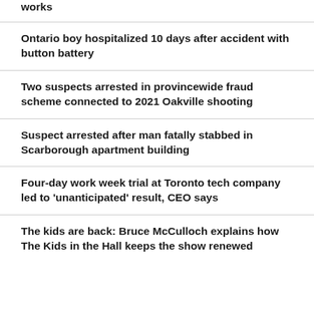works
Ontario boy hospitalized 10 days after accident with button battery
Two suspects arrested in provincewide fraud scheme connected to 2021 Oakville shooting
Suspect arrested after man fatally stabbed in Scarborough apartment building
Four-day work week trial at Toronto tech company led to 'unanticipated' result, CEO says
The kids are back: Bruce McCulloch explains how The Kids in the Hall keeps the show renewed